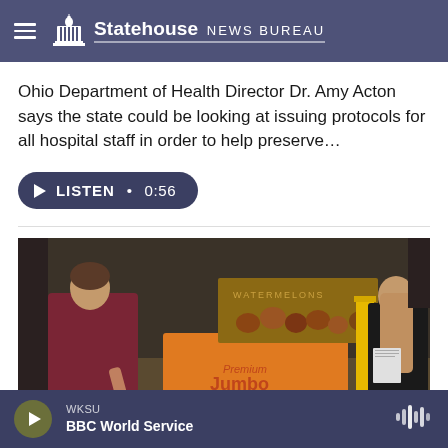Statehouse NEWS BUREAU
Ohio Department of Health Director Dr. Amy Acton says the state could be looking at issuing protocols for all hospital staff in order to help preserve…
LISTEN • 0:56
[Figure (photo): Two people in a warehouse/food bank setting near large cardboard boxes labeled 'Jumbo' with produce including onions and other vegetables/fruits.]
WKSU
BBC World Service